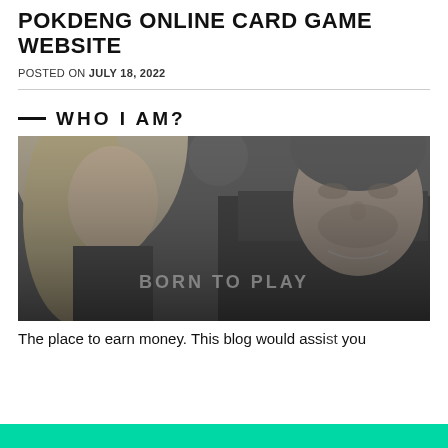POKDENG ONLINE CARD GAME WEBSITE
POSTED ON JULY 18, 2022
WHO I AM?
[Figure (photo): Black and white photo of a man and woman, possibly at a casino or gaming event. Overlaid text reads BORN TO PLAY.]
The place to earn money. This blog would assist you